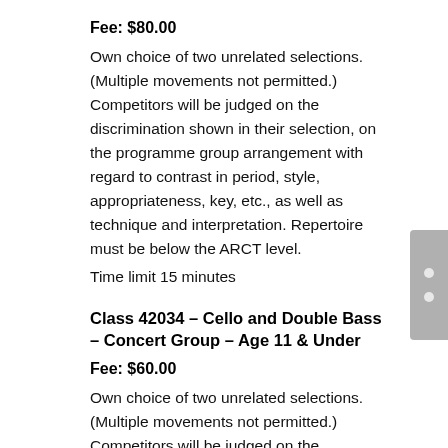Fee: $80.00
Own choice of two unrelated selections. (Multiple movements not permitted.) Competitors will be judged on the discrimination shown in their selection, on the programme group arrangement with regard to contrast in period, style, appropriateness, key, etc., as well as technique and interpretation. Repertoire must be below the ARCT level.
Time limit 15 minutes
Class 42034 – Cello and Double Bass – Concert Group – Age 11 & Under
Fee: $60.00
Own choice of two unrelated selections. (Multiple movements not permitted.) Competitors will be judged on the discrimination shown in their selection, on the programme group arrangement